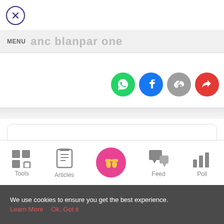[Figure (screenshot): Close button - circle with X, dark purple border]
MENU  anc blanpar one
[Figure (infographic): Social share icons row: WhatsApp (green), Facebook (dark blue), Link/copy (gray), Share (red)]
[Figure (screenshot): Gray gradient divider bar]
[Figure (screenshot): White card with gray placeholder rectangle inside, rounded corners, bordered]
[Figure (infographic): Bottom navigation bar with icons and labels: Tools (grid icon), Articles (clipboard icon), center pink circle with footprints, Feed (chat bubbles icon), Poll (bar chart icon)]
We use cookies to ensure you get the best experience.
Learn More   Ok, Got it